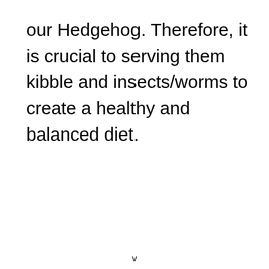our Hedgehog. Therefore, it is crucial to serving them kibble and insects/worms to create a healthy and balanced diet.
v